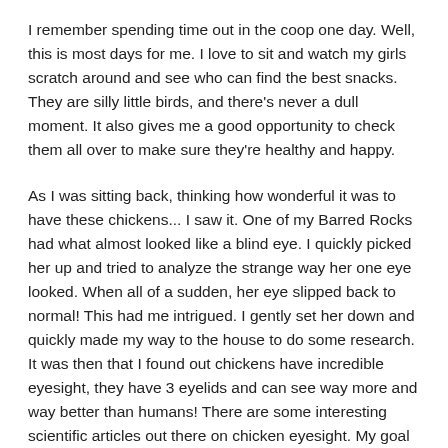I remember spending time out in the coop one day. Well, this is most days for me. I love to sit and watch my girls scratch around and see who can find the best snacks. They are silly little birds, and there's never a dull moment. It also gives me a good opportunity to check them all over to make sure they're healthy and happy.
As I was sitting back, thinking how wonderful it was to have these chickens... I saw it. One of my Barred Rocks had what almost looked like a blind eye. I quickly picked her up and tried to analyze the strange way her one eye looked. When all of a sudden, her eye slipped back to normal! This had me intrigued. I gently set her down and quickly made my way to the house to do some research. It was then that I found out chickens have incredible eyesight, they have 3 eyelids and can see way more and way better than humans! There are some interesting scientific articles out there on chicken eyesight. My goal is to break this down and make it a little easier to understand.